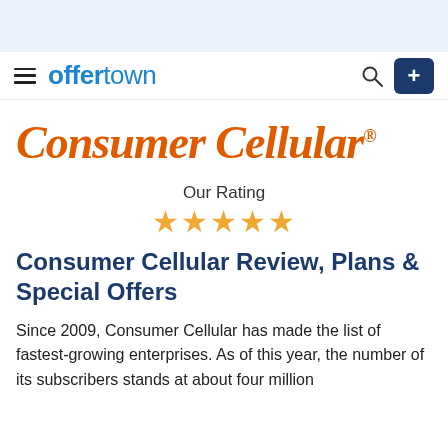offertown
[Figure (logo): Consumer Cellular logo in orange italic serif font with registered trademark symbol]
Our Rating
[Figure (infographic): Five gold/orange star rating icons]
Consumer Cellular Review, Plans & Special Offers
Since 2009, Consumer Cellular has made the list of fastest-growing enterprises. As of this year, the number of its subscribers stands at about four million